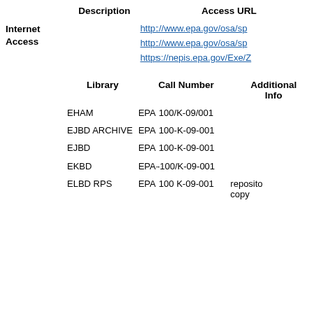|  | Description | Access URL |
| --- | --- | --- |
| Internet Access |  | http://www.epa.gov/osa/sp |
|  |  | http://www.epa.gov/osa/sp |
|  |  | https://nepis.epa.gov/Exe/Z |
|  | Library | Call Number | Additional Info |
| --- | --- | --- | --- |
|  | EHAM | EPA 100/K-09/001 |  |
|  | EJBD ARCHIVE | EPA 100-K-09-001 |  |
|  | EJBD | EPA 100-K-09-001 |  |
|  | EKBD | EPA-100/K-09-001 |  |
|  | ELBD RPS | EPA 100 K-09-001 | repository copy |